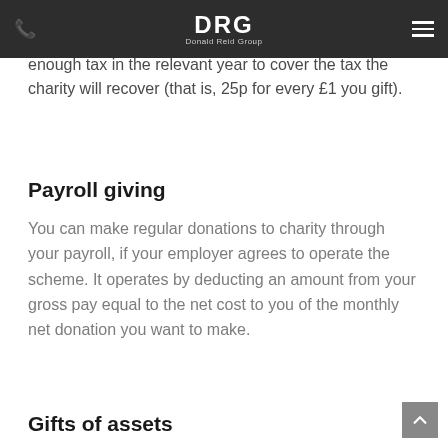Donald Reid Group navigation bar
your 2020 Tax Return – another example of the importance of keeping informed!) You must pay enough tax in the relevant year to cover the tax the charity will recover (that is, 25p for every £1 you gift).
Payroll giving
You can make regular donations to charity through your payroll, if your employer agrees to operate the scheme. It operates by deducting an amount from your gross pay equal to the net cost to you of the monthly net donation you want to make.
Gifts of assets